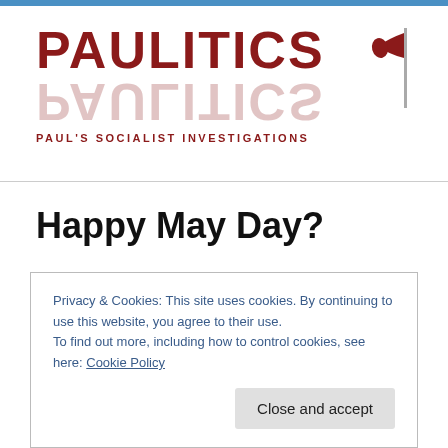PAULITICS — PAUL'S SOCIALIST INVESTIGATIONS
Happy May Day?
Today is May Day, the original Labour Day throughout the world (including Canada and the U.S.).  And, despite the
Privacy & Cookies: This site uses cookies. By continuing to use this website, you agree to their use.
To find out more, including how to control cookies, see here: Cookie Policy
Close and accept